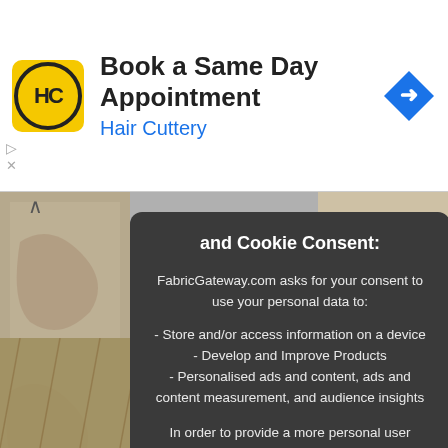[Figure (screenshot): Hair Cuttery advertisement banner with logo, 'Book a Same Day Appointment' heading, and navigation icon]
[Figure (screenshot): Website background showing fabric texture images on left and right sides]
and Cookie Consent:
FabricGateway.com asks for your consent to use your personal data to:
- Store and/or access information on a device
- Develop and Improve Products
- Personalised ads and content, ads and content measurement, and audience insights
In order to provide a more personal user experience, we and our partners use technology such as cookies to store and/or access device information.